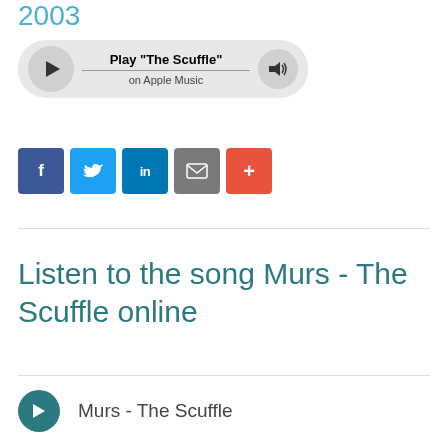2003
[Figure (other): Apple Music player widget with play button, track title 'Play "The Scuffle"', subtitle 'on Apple Music', scrubber bar, and volume button]
[Figure (infographic): Social sharing buttons: Facebook (f), Twitter (bird), LinkedIn (in), Email (envelope), More (+)]
Listen to the song Murs - The Scuffle online
Murs - The Scuffle